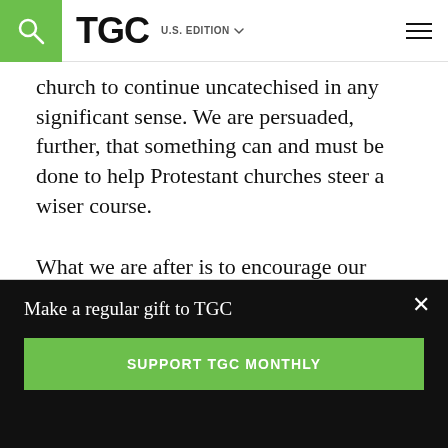TGC U.S. EDITION
church to continue uncatechised in any significant sense. We are persuaded, further, that something can and must be done to help Protestant churches steer a wiser course.
What we are after is to encourage our fellow evangelicals to seriously consider the wisdom of building believers the old-fashioned way—by taking up the practice of catechesis.
Make a regular gift to TGC
SUPPORT TGC MONTHLY